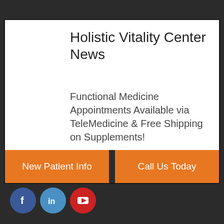Holistic Vitality Center News
Functional Medicine Appointments Available via TeleMedicine & Free Shipping on Supplements!
New Patient Info
Call Us Today
[Figure (infographic): Social media icons: Facebook (blue circle with f), LinkedIn (light blue circle with 'in'), YouTube (red circle with YouTube logo)]